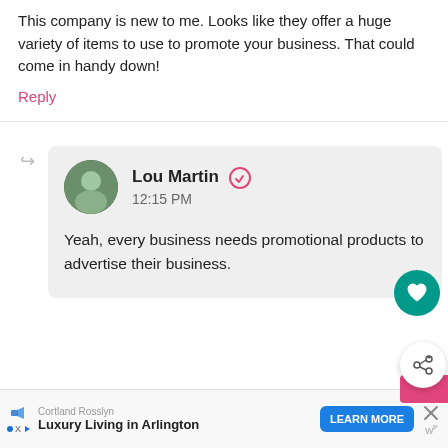This company is new to me. Looks like they offer a huge variety of items to use to promote your business. That could come in handy down!
Reply
Lou Martin 12:15 PM
Yeah, every business needs promotional products to advertise their business.
Unknown 7:05 PM
WHAT'S NEXT → How to Make Money with...
Cortland Rosslyn Luxury Living in Arlington LEARN MORE